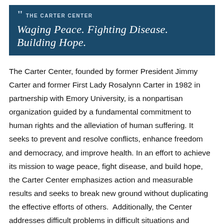[Figure (logo): The Carter Center banner with tagline: Waging Peace. Fighting Disease. Building Hope.]
The Carter Center, founded by former President Jimmy Carter and former First Lady Rosalynn Carter in 1982 in partnership with Emory University, is a nonpartisan organization guided by a fundamental commitment to human rights and the alleviation of human suffering. It seeks to prevent and resolve conflicts, enhance freedom and democracy, and improve health. In an effort to achieve its mission to wage peace, fight disease, and build hope, the Carter Center emphasizes action and measurable results and seeks to break new ground without duplicating the effective efforts of others.  Additionally, the Center addresses difficult problems in difficult situations and recognizes the possibility of failure as an acceptable risk, while actively seeking complementary partnerships and working collaboratively with other organizations from the highest levels of government to the community level.